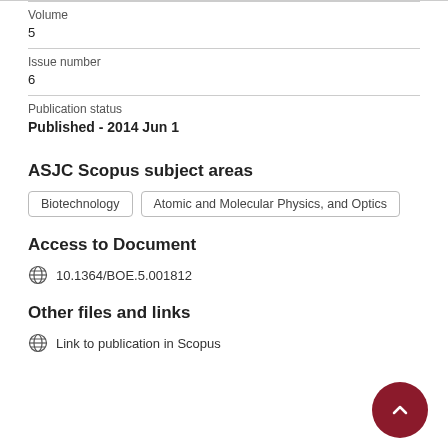Volume
5
Issue number
6
Publication status
Published - 2014 Jun 1
ASJC Scopus subject areas
Biotechnology
Atomic and Molecular Physics, and Optics
Access to Document
10.1364/BOE.5.001812
Other files and links
Link to publication in Scopus